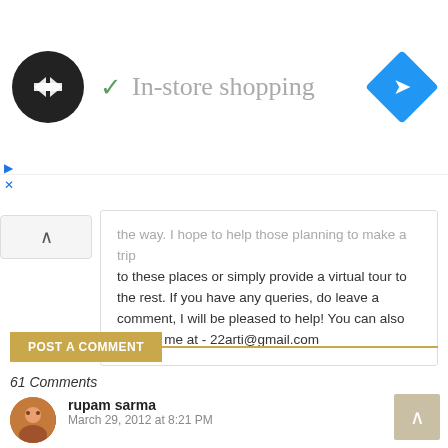[Figure (screenshot): Ad banner showing a circular logo with arrows, a checkmark, 'In-store shopping' text, and a blue diamond navigation icon on the right.]
the way. I hope to help those planning to make a trip to these places or simply provide a virtual tour to the rest. If you have any queries, do leave a comment, I will be pleased to help! You can also contact me at - 22arti@gmail.com
POST A COMMENT
61 Comments
rupam sarma
March 29, 2012 at 8:21 PM
@Arti Good evening.Just read your beautiful post on Mathura,Great to read it.Thanks a lot for the information & Photographs.